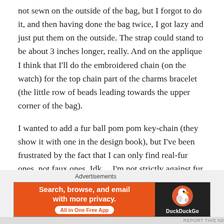not sewn on the outside of the bag, but I forgot to do it, and then having done the bag twice, I got lazy and just put them on the outside. The strap could stand to be about 3 inches longer, really. And on the applique I think that I'll do the embroidered chain (on the watch) for the top chain part of the charms bracelet (the little row of beads leading towards the upper corner of the bag).
I wanted to add a fur ball pom pom key-chain (they show it with one in the design book), but I've been frustrated by the fact that I can only find real-fur ones, not faux ones. Idk… I'm not strictly against fur, but since I used faux-suede, I think adding a real-fur accessory would be rather odd.
Advertisements
[Figure (other): DuckDuckGo advertisement banner. Left side: orange background with bold white text 'Search, browse, and email with more privacy.' and a white pill button 'All in One Free App'. Right side: black background with DuckDuckGo duck logo and 'DuckDuckGo' text.]